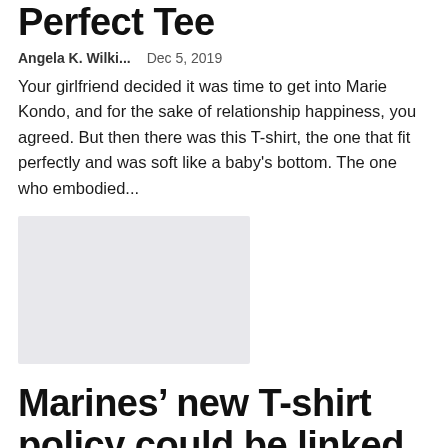Perfect Tee
Angela K. Wilki...   Dec 5, 2019
Your girlfriend decided it was time to get into Marie Kondo, and for the sake of relationship happiness, you agreed. But then there was this T-shirt, the one that fit perfectly and was soft like a baby's bottom. The one who embodied...
[Figure (photo): Placeholder image in light gray]
Marines’ new T-shirt policy could be linked to tattoo complaint